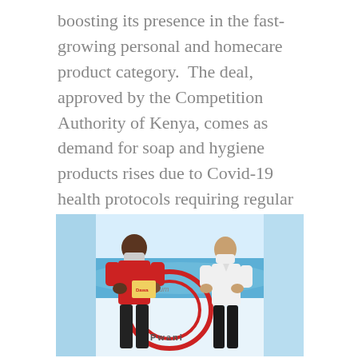boosting its presence in the fast-growing personal and homecare product category. The deal, approved by the Competition Authority of Kenya, comes as demand for soap and hygiene products rises due to Covid-19 health protocols requiring regular washing and disinfecting to curb [...]
[Figure (photo): Two men wearing face masks standing in front of a Pwani logo/banner with beach background. The man on the left wears a red shirt and the man on the right wears a white shirt. They appear to be exchanging or holding a product between them. The Pwani company logo is visible in the background.]